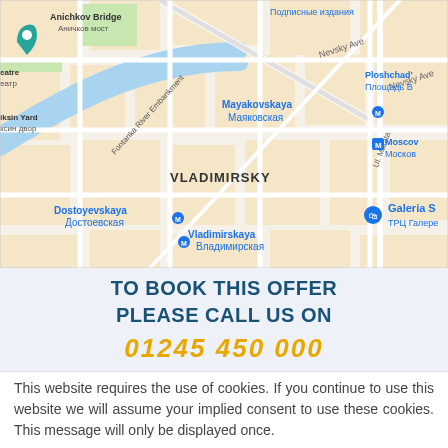[Figure (map): Google Maps screenshot showing area around Vladimirsky district in Saint Petersburg, Russia. Shows Fontanka River Embankment, Anichkov Bridge, Nevsky Ave, Mayakovskaya, Vladimirskaya, Dostoyevskaya metro stations, Galeria shopping center, and other landmarks.]
TO BOOK THIS OFFER PLEASE CALL US ON
This website requires the use of cookies. If you continue to use this website we will assume your implied consent to use these cookies. This message will only be displayed once.